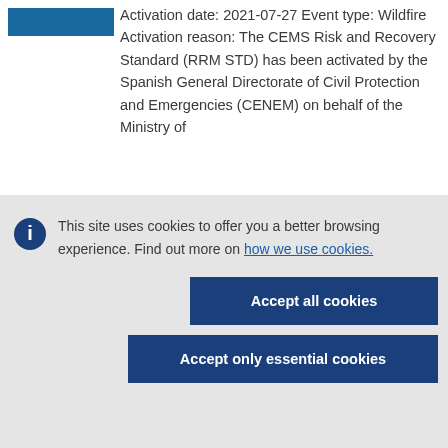Activation date: 2021-07-27 Event type: Wildfire Activation reason: The CEMS Risk and Recovery Standard (RRM STD) has been activated by the Spanish General Directorate of Civil Protection and Emergencies (CENEM) on behalf of the Ministry of
This site uses cookies to offer you a better browsing experience. Find out more on how we use cookies.
Accept all cookies
Accept only essential cookies